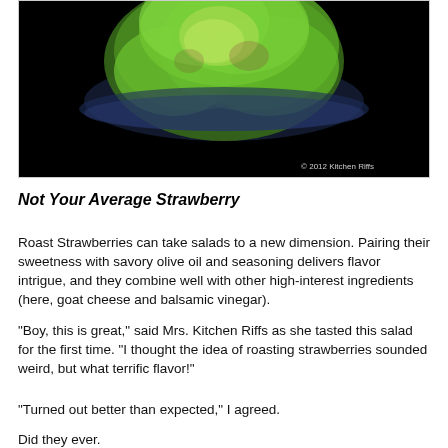[Figure (photo): Food photograph showing green lettuce/salad leaves on a dark/black background, with '© 2012 Kitchen Riffs' watermark in the lower right corner.]
Not Your Average Strawberry
Roast Strawberries can take salads to a new dimension. Pairing their sweetness with savory olive oil and seasoning delivers flavor intrigue, and they combine well with other high-interest ingredients (here, goat cheese and balsamic vinegar).
“Boy, this is great,” said Mrs. Kitchen Riffs as she tasted this salad for the first time.  “I thought the idea of roasting strawberries sounded weird, but what terrific flavor!”
“Turned out better than expected,” I agreed.
Did they ever.